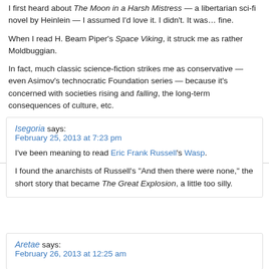I first heard about The Moon in a Harsh Mistress — a libertarian sci-fi novel by Heinlein — I assumed I'd love it. I didn't. It was… fine.
When I read H. Beam Piper's Space Viking, it struck me as rather Moldbuggian.
In fact, much classic science-fiction strikes me as conservative — even Asimov's technocratic Foundation series — because it's concerned with societies rising and falling, the long-term consequences of culture, etc.
Poul Anderson's works run the gamut from deeply thoughtful to light and pulpy. Many feature interstellar traders as heroes and overreaching governments as villains or obstacles.
Isegoria says:
February 25, 2013 at 7:23 pm
I've been meaning to read Eric Frank Russell's Wasp.
I found the anarchists of Russell's "And then there were none," the short story that became The Great Explosion, a little too silly.
Aretae says:
February 26, 2013 at 12:25 am